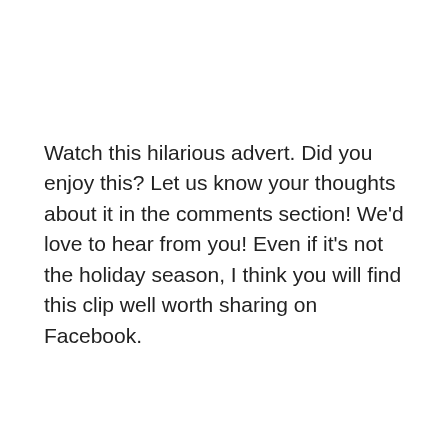Watch this hilarious advert. Did you enjoy this? Let us know your thoughts about it in the comments section! We'd love to hear from you! Even if it's not the holiday season, I think you will find this clip well worth sharing on Facebook.
[Figure (screenshot): YouTube video embed showing 'Freshpet Holiday Feast - 13 Dogs a...' with the Freshpet logo (circular white badge with green text), a dark scene of dogs sitting at a holiday dinner table, and a red YouTube play button in the center.]